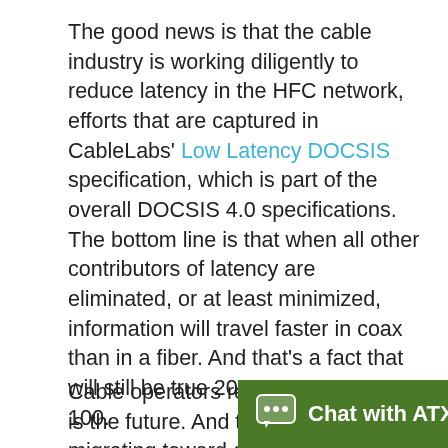The good news is that the cable industry is working diligently to reduce latency in the HFC network, efforts that are captured in CableLabs' Low Latency DOCSIS specification, which is part of the overall DOCSIS 4.0 specifications. The bottom line is that when all other contributors of latency are eliminated, or at least minimized, information will travel faster in coax than in a fiber. And that's a fact that will still be true 20 years, or even 100.
Cable operators recognize that fiber is the future. And they are gradually migrating toward an all-fiber network, but at a pace that allows them to maximize the massive investments they've already made in millions of miles of coax plant. That transition, for many MSOs, could take 20 years or more. In the meantime, when it comes to speed, as measured by Gbps or la... rightfully cl...